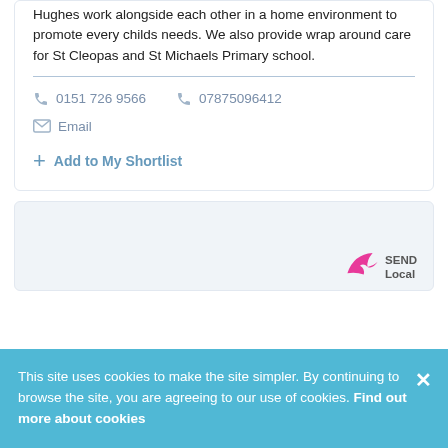Hughes work alongside each other in a home environment to promote every childs needs. We also provide wrap around care for St Cleopas and St Michaels Primary school.
0151 726 9566   07875096412
Email
Add to My Shortlist
[Figure (logo): SEND Local logo with pink bird icon]
This site uses cookies to make the site simpler. By continuing to browse the site, you are agreeing to our use of cookies. Find out more about cookies